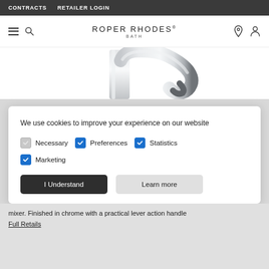CONTRACTS   RETAILER LOGIN
[Figure (logo): Roper Rhodes Bath logo with hamburger menu and search icon on the left, location pin and account icon on the right]
[Figure (photo): Chrome faucet/basin mixer tap product photo, cropped showing spout]
We use cookies to improve your experience on our website
Necessary
Preferences
Statistics
Marketing
I Understand   Learn more
mixer. Finished in chrome with a practical lever action handle